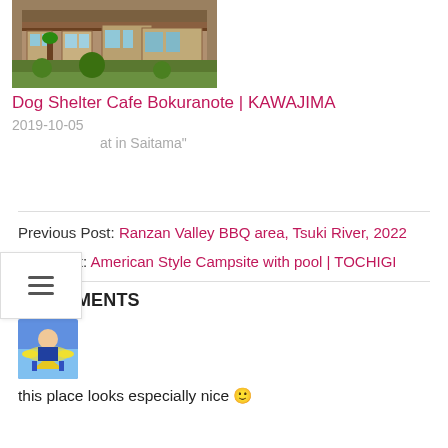[Figure (photo): Photo of a dog shelter cafe building exterior]
Dog Shelter Cafe Bokuranote | KAWAJIMA
2019-10-05
at in Saitama"
Previous Post: Ranzan Valley BBQ area, Tsuki River, 2022
Next Post: American Style Campsite with pool | TOCHIGI
2 COMMENTS
[Figure (illustration): User avatar illustration of a person flying on a yellow star airplane]
this place looks especially nice 🙂